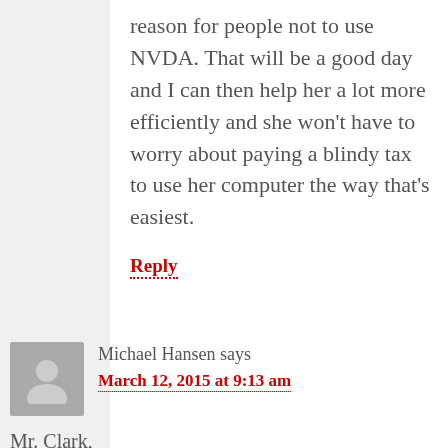reason for people not to use NVDA. That will be a good day and I can then help her a lot more efficiently and she won't have to worry about paying a blindy tax to use her computer the way that's easiest.
Reply
Michael Hansen says
March 12, 2015 at 9:13 am
Mr. Clark,